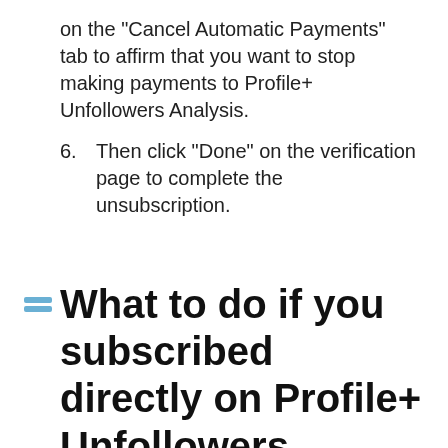on the "Cancel Automatic Payments" tab to affirm that you want to stop making payments to Profile+ Unfollowers Analysis.
6. Then click "Done" on the verification page to complete the unsubscription.
🟦 What to do if you subscribed directly on Profile+ Unfollowers Analysis's website?
Here's how to cancel your Profile+ Unfollowers Analysis subscription when billed through a